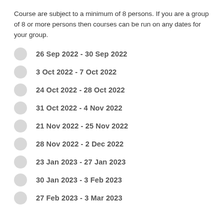Course are subject to a minimum of 8 persons. If you are a group of 8 or more persons then courses can be run on any dates for your group.
26 Sep 2022 - 30 Sep 2022
3 Oct 2022 - 7 Oct 2022
24 Oct 2022 - 28 Oct 2022
31 Oct 2022 - 4 Nov 2022
21 Nov 2022 - 25 Nov 2022
28 Nov 2022 - 2 Dec 2022
23 Jan 2023 - 27 Jan 2023
30 Jan 2023 - 3 Feb 2023
27 Feb 2023 - 3 Mar 2023